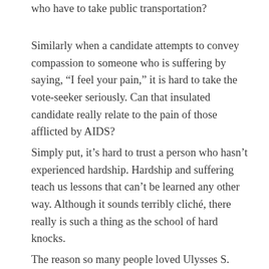who have to take public transportation?
Similarly when a candidate attempts to convey compassion to someone who is suffering by saying, “I feel your pain,” it is hard to take the vote-seeker seriously. Can that insulated candidate really relate to the pain of those afflicted by AIDS?
Simply put, it’s hard to trust a person who hasn’t experienced hardship. Hardship and suffering teach us lessons that can’t be learned any other way. Although it sounds terribly cliché, there really is such a thing as the school of hard knocks.
The reason so many people loved Ulysses S. Grant